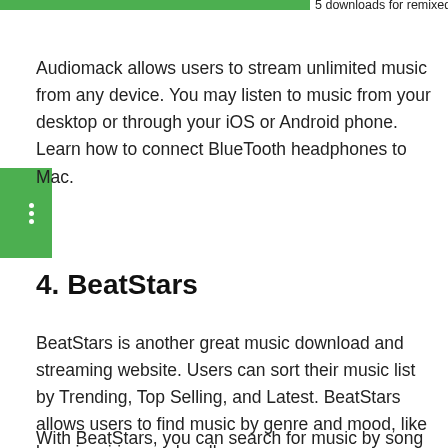5 downloads for remixed music.
Audiomack allows users to stream unlimited music from any device. You may listen to music from your desktop or through your iOS or Android phone. Learn how to connect BlueTooth headphones to Mac.
4. BeatStars
BeatStars is another great music download and streaming website. Users can sort their music list by Trending, Top Selling, and Latest. BeatStars allows users to find music by genre and mood, like lazy, inspiring, and mellow.
With BeatStars, you can search for music by song